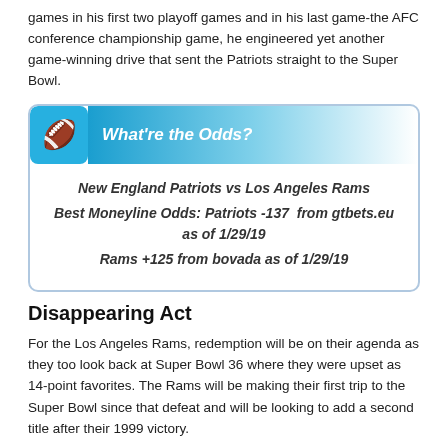games in his first two playoff games and in his last game-the AFC conference championship game, he engineered yet another game-winning drive that sent the Patriots straight to the Super Bowl.
[Figure (infographic): What're the Odds? box showing New England Patriots vs Los Angeles Rams moneyline odds: Patriots -137 from gtbets.eu as of 1/29/19, Rams +125 from bovada as of 1/29/19]
Disappearing Act
For the Los Angeles Rams, redemption will be on their agenda as they too look back at Super Bowl 36 where they were upset as 14-point favorites. The Rams will be making their first trip to the Super Bowl since that defeat and will be looking to add a second title after their 1999 victory.
The Rams had an excellent regular season which began at 8-0 and progressed to 11-1. However, they won just half of their last four